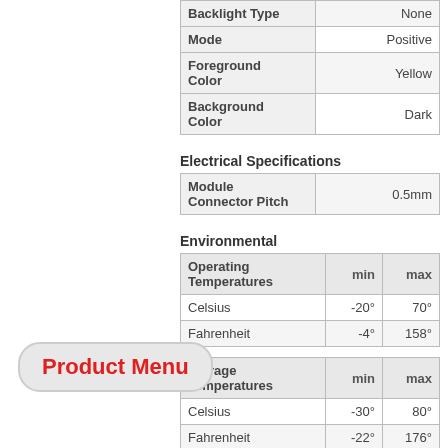|  |  |
| --- | --- |
| Backlight Type | None |
| Mode | Positive |
| Foreground Color | Yellow |
| Background Color | Dark |
Electrical Specifications
|  |  |
| --- | --- |
| Module Connector Pitch | 0.5mm |
Environmental
| Operating Temperatures | min | max |
| --- | --- | --- |
| Celsius | -20° | 70° |
| Fahrenheit | -4° | 158° |
| Storage Temperatures | min | max |
| --- | --- | --- |
| Celsius | -30° | 80° |
| Fahrenheit | -22° | 176° |
| Humidity | min | max |
| --- | --- | --- |
Product Menu